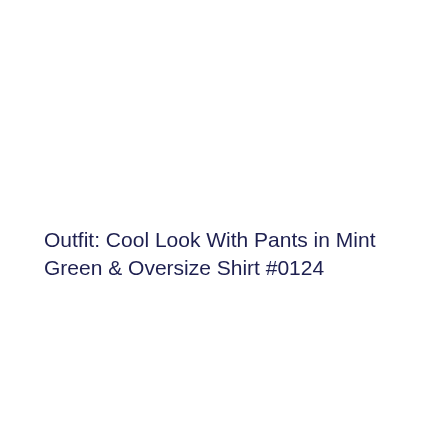Outfit: Cool Look With Pants in Mint Green & Oversize Shirt #0124